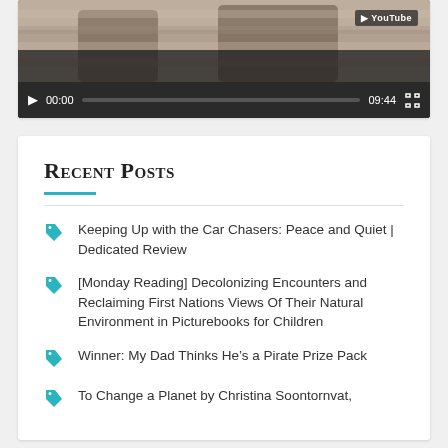[Figure (screenshot): YouTube video player showing a video paused at 00:00 with total duration 09:44. Dark control bar with play button, progress bar, timestamp and fullscreen button.]
Recent Posts
Keeping Up with the Car Chasers: Peace and Quiet | Dedicated Review
[Monday Reading] Decolonizing Encounters and Reclaiming First Nations Views Of Their Natural Environment in Picturebooks for Children
Winner: My Dad Thinks He's a Pirate Prize Pack
To Change a Planet by Christina Soontornvat,